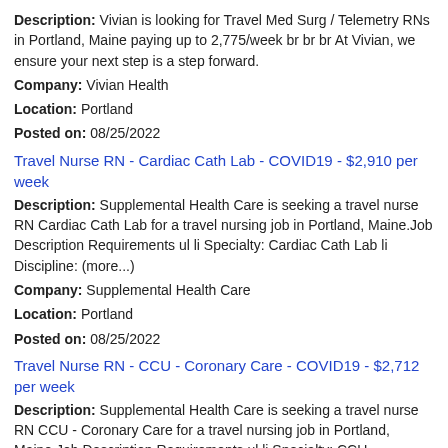Description: Vivian is looking for Travel Med Surg / Telemetry RNs in Portland, Maine paying up to 2,775/week br br br At Vivian, we ensure your next step is a step forward.
Company: Vivian Health
Location: Portland
Posted on: 08/25/2022
Travel Nurse RN - Cardiac Cath Lab - COVID19 - $2,910 per week
Description: Supplemental Health Care is seeking a travel nurse RN Cardiac Cath Lab for a travel nursing job in Portland, Maine.Job Description Requirements ul li Specialty: Cardiac Cath Lab li Discipline: (more...)
Company: Supplemental Health Care
Location: Portland
Posted on: 08/25/2022
Travel Nurse RN - CCU - Coronary Care - COVID19 - $2,712 per week
Description: Supplemental Health Care is seeking a travel nurse RN CCU - Coronary Care for a travel nursing job in Portland, Maine.Job Description Requirements ul li Specialty: CCU - Coronary Care li Discipline: (more...)
Company: Supplemental Health Care